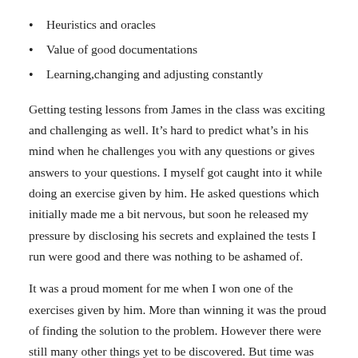Heuristics and oracles
Value of good documentations
Learning,changing and adjusting constantly
Getting testing lessons from James in the class was exciting and challenging as well. It’s hard to predict what’s in his mind when he challenges you with any questions or gives answers to your questions. I myself got caught into it while doing an exercise given by him. He asked questions which initially made me a bit nervous, but soon he released my pressure by disclosing his secrets and explained the tests I run were good and there was nothing to be ashamed of.
It was a proud moment for me when I won one of the exercises given by him. More than winning it was the proud of finding the solution to the problem. However there were still many other things yet to be discovered. But time was up.
This two days workshop with him was like brainstorming, he also suggested me some books and also to be active on testing networks as